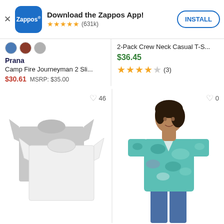[Figure (screenshot): Zappos app install banner with logo, star rating (631k reviews), and INSTALL button]
[Figure (photo): Color swatches (blue, brown, gray) for a product - Prana Camp Fire Journeyman 2 Sli...]
Prana
Camp Fire Journeyman 2 Sli...
$30.61  MSRP: $35.00
2-Pack Crew Neck Casual T-S...
$36.45
★★★★☆ (3)
[Figure (photo): Two crew neck t-shirts (gray and white) stacked, with heart/favorite icon showing 46 saves]
[Figure (photo): Woman wearing a teal/mint patterned short-sleeve button-up shirt, with heart/favorite icon showing 0 saves]